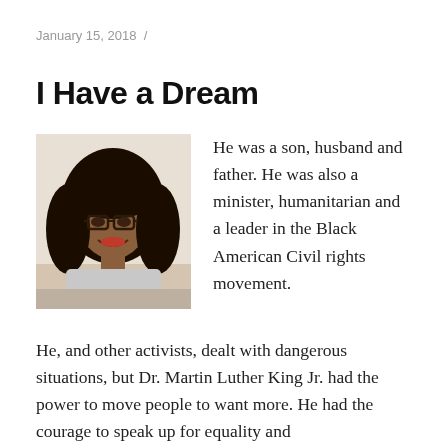January 15, 2018  /
I Have a Dream
[Figure (photo): Portrait photo of a woman with curly hair and glasses, smiling, wearing a light-colored top]
He was a son, husband and father. He was also a minister, humanitarian and a leader in the Black American Civil rights movement.
He, and other activists, dealt with dangerous situations, but Dr. Martin Luther King Jr. had the power to move people to want more. He had the courage to speak up for equality and